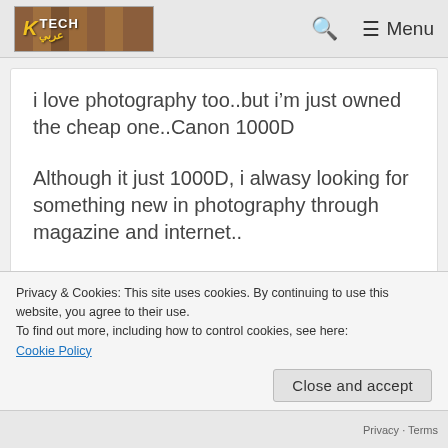[Figure (logo): Tech website logo with Arabic text on wooden plank background with navigation menu bar showing search icon and Menu button]
i love photography too..but i'm just owned the cheap one..Canon 1000D
Although it just 1000D, i alwasy looking for something new in photography through magazine and internet..
Privacy & Cookies: This site uses cookies. By continuing to use this website, you agree to their use.
To find out more, including how to control cookies, see here:
Cookie Policy
Close and accept
Privacy · Terms